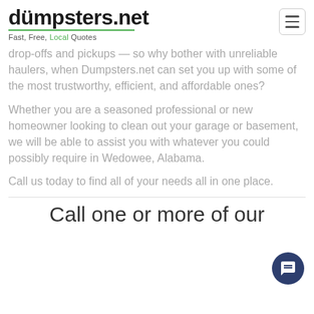dumpsters.net — Fast, Free, Local Quotes
drop-offs and pickups — so why bother with unreliable haulers, when Dumpsters.net can set you up with some of the most trustworthy, efficient, and affordable ones?
Whether you are a seasoned professional or new homeowner looking to clean out your garage or basement, we will be able to assist you with whatever you could possibly require in Wedowee, Alabama.
Call us today to find all of your needs all in one place.
Call one or more of our